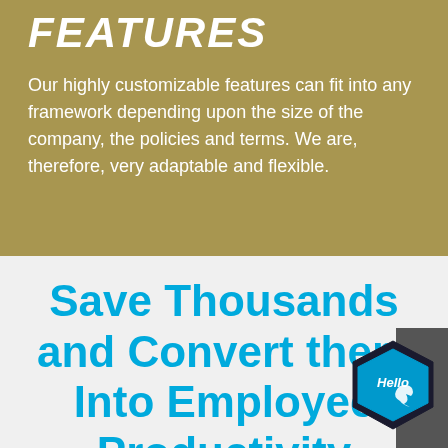FEATURES
Our highly customizable features can fit into any framework depending upon the size of the company, the policies and terms. We are, therefore, very adaptable and flexible.
Save Thousands and Convert them Into Employee Productivity